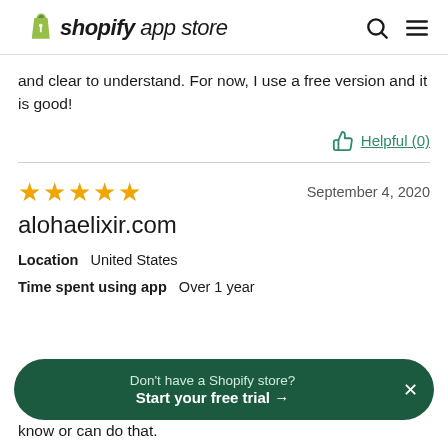shopify app store
and clear to understand. For now, I use a free version and it is good!
Helpful (0)
★★★★★   September 4, 2020
alohaelixir.com
Location  United States
Time spent using app  Over 1 year
Don't have a Shopify store? Start your free trial →
know or can do that.